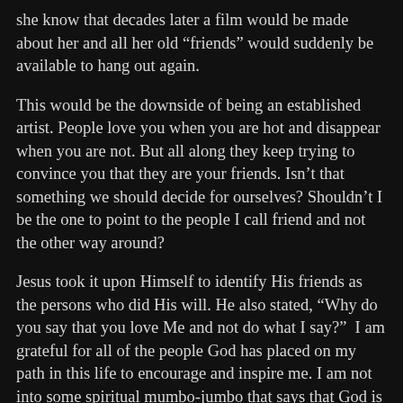she know that decades later a film would be made about her and all her old “friends” would suddenly be available to hang out again.
This would be the downside of being an established artist. People love you when you are hot and disappear when you are not. But all along they keep trying to convince you that they are your friends. Isn’t that something we should decide for ourselves? Shouldn’t I be the one to point to the people I call friend and not the other way around?
Jesus took it upon Himself to identify His friends as the persons who did His will. He also stated, “Why do you say that you love Me and not do what I say?”  I am grateful for all of the people God has placed on my path in this life to encourage and inspire me. I am not into some spiritual mumbo-jumbo that says that God is responsible for all of the idiots (a-holes, actually), meanies, bullies and liars I’ve come to trust til betrayal